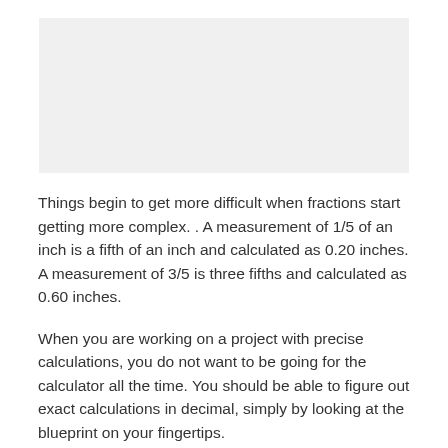[Figure (other): Image placeholder at top of page]
Things begin to get more difficult when fractions start getting more complex. . A measurement of 1/5 of an inch is a fifth of an inch and calculated as 0.20 inches. A measurement of 3/5 is three fifths and calculated as 0.60 inches.
When you are working on a project with precise calculations, you do not want to be going for the calculator all the time. You should be able to figure out exact calculations in decimal, simply by looking at the blueprint on your fingertips.